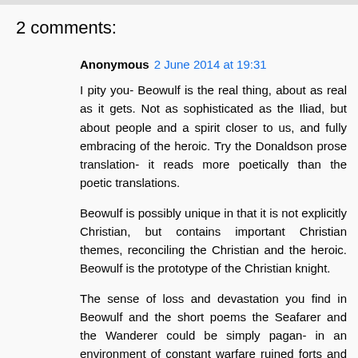2 comments:
Anonymous 2 June 2014 at 19:31
I pity you- Beowulf is the real thing, about as real as it gets. Not as sophisticated as the Iliad, but about people and a spirit closer to us, and fully embracing of the heroic. Try the Donaldson prose translation- it reads more poetically than the poetic translations.
Beowulf is possibly unique in that it is not explicitly Christian, but contains important Christian themes, reconciling the Christian and the heroic. Beowulf is the prototype of the Christian knight.
The sense of loss and devastation you find in Beowulf and the short poems the Seafarer and the Wanderer could be simply pagan- in an environment of constant warfare ruined forts and halls would not be unusual- but the idea it comes from the departure of the Romans is interesting. I know the English think of themselves as Romans, or heirs of the